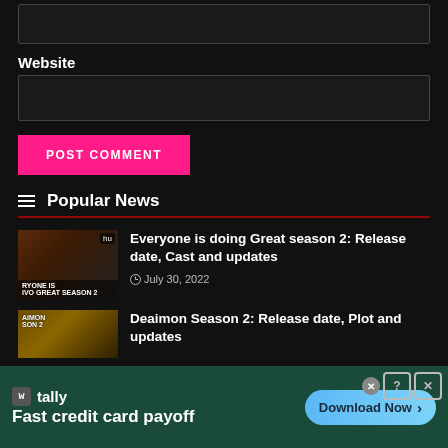[Figure (screenshot): Dark input box at top of page (partial, cropped)]
Website
[Figure (screenshot): Dark input box for website URL]
POST COMMENT
Popular News
Everyone is doing Great season 2: Release date, Cast and updates
July 30, 2022
Deaimon Season 2: Release date, Plot and updates
[Figure (infographic): Advertisement banner: W tally — Fast credit card payoff — Download Now button]